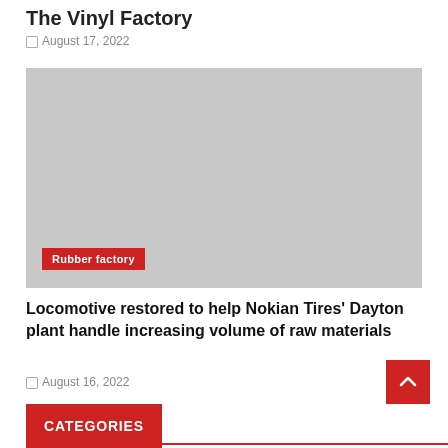The Vinyl Factory
□ August 17, 2022
[Figure (photo): Gray placeholder image with a red 'Rubber factory' label badge in the lower left corner]
Locomotive restored to help Nokian Tires' Dayton plant handle increasing volume of raw materials
□ August 16, 2022
CATEGORIES